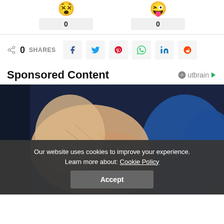[Figure (other): Two emoji reaction icons (dizzy face and winking face with tongue) each showing a count of 0]
0 SHARES with social sharing buttons: Facebook, Twitter, Pinterest, WhatsApp, LinkedIn, Reddit
Sponsored Content
[Figure (photo): Photo of a person in a blue dress holding their legs, showing skin texture, likely a sponsored health/beauty content image]
Our website uses cookies to improve your experience. Learn more about: Cookie Policy
Accept